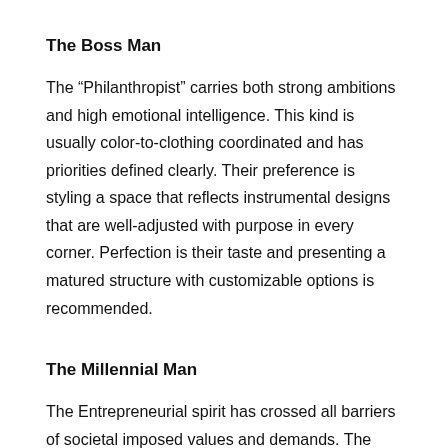The Boss Man
The “Philanthropist” carries both strong ambitions and high emotional intelligence. This kind is usually color-to-clothing coordinated and has priorities defined clearly. Their preference is styling a space that reflects instrumental designs that are well-adjusted with purpose in every corner. Perfection is their taste and presenting a matured structure with customizable options is recommended.
The Millennial Man
The Entrepreneurial spirit has crossed all barriers of societal imposed values and demands. The Millennial Man is driven with this mindset, and is basic in his needs, smart in his choices, quick in his approach, and is aggressively dedicated to making a hand in the